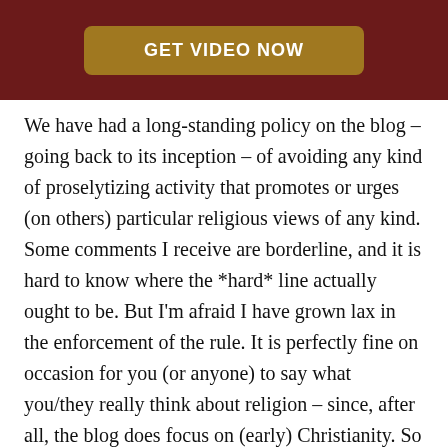[Figure (other): Dark red header bar with a gold rounded button labeled GET VIDEO NOW]
We have had a long-standing policy on the blog – going back to its inception – of avoiding any kind of proselytizing activity that promotes or urges (on others) particular religious views of any kind.  Some comments I receive are borderline, and it is hard to know where the *hard* line actually ought to be.  But I'm afraid I have grown lax in the enforcement of the rule.  It is perfectly fine on occasion for you (or anyone) to say what you/they really think about religion – since, after all, the blog does focus on (early) Christianity.  So an occasional non-proselytizing comment is AOK.  But I have decided, in light of the objectives of our mutual endeavor, to return to the original intention and not post comments that are inappropriately designed to urge particularly religious views.
I hope you understand!   We all know that there are